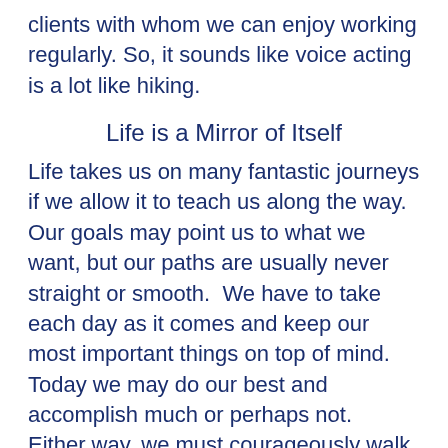clients with whom we can enjoy working regularly. So, it sounds like voice acting is a lot like hiking.
Life is a Mirror of Itself
Life takes us on many fantastic journeys if we allow it to teach us along the way.  Our goals may point us to what we want, but our paths are usually never straight or smooth.  We have to take each day as it comes and keep our most important things on top of mind.  Today we may do our best and accomplish much or perhaps not.  Either way, we must courageously walk these paths if we expect to carve out a life that we can look back on, and with assurance,